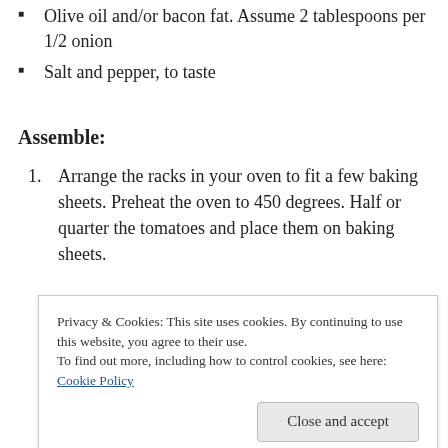Olive oil and/or bacon fat. Assume 2 tablespoons per 1/2 onion
Salt and pepper, to taste
Assemble:
1. Arrange the racks in your oven to fit a few baking sheets. Preheat the oven to 450 degrees. Half or quarter the tomatoes and place them on baking sheets.
Privacy & Cookies: This site uses cookies. By continuing to use this website, you agree to their use.
To find out more, including how to control cookies, see here: Cookie Policy
edges, about 25-30 minutes. Meanwhile, place a large